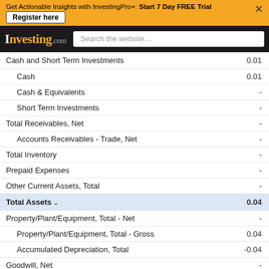Get Actionable Insights with InvestingPro+: Start 7 Day FREE Trial
Register here
[Figure (screenshot): Investing.com navigation bar with search box]
| Item | Value |
| --- | --- |
| Cash and Short Term Investments | 0.01 |
| Cash | 0.01 |
| Cash & Equivalents | - |
| Short Term Investments | - |
| Total Receivables, Net | - |
| Accounts Receivables - Trade, Net | - |
| Total Inventory | - |
| Prepaid Expenses | - |
| Other Current Assets, Total | - |
| Total Assets | 0.04 |
| Property/Plant/Equipment, Total - Net | - |
| Property/Plant/Equipment, Total - Gross | 0.04 |
| Accumulated Depreciation, Total | -0.04 |
| Goodwill, Net | - |
| Intangibles, Net | - |
| Long Term Investments | - |
| Note Receiv... |  |
| Other Long T... |  |
ENZC Comments